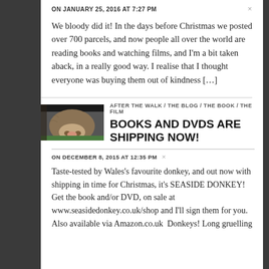ON JANUARY 25, 2016 AT 7:27 PM
We bloody did it! In the days before Christmas we posted over 700 parcels, and now people all over the world are reading books and watching films, and I'm a bit taken aback, in a really good way. I realise that I thought everyone was buying them out of kindness […]
[Figure (photo): Close-up photo of a donkey's nose and face from below, with grass in background]
AFTER THE WALK / THE BLOG / THE BOOK / THE FILM
BOOKS AND DVDS ARE SHIPPING NOW!
ON DECEMBER 8, 2015 AT 12:35 PM
Taste-tested by Wales's favourite donkey, and out now with shipping in time for Christmas, it's SEASIDE DONKEY!  Get the book and/or DVD, on sale at www.seasidedonkey.co.uk/shop and I'll sign them for you. Also available via Amazon.co.uk  Donkeys! Long gruelling